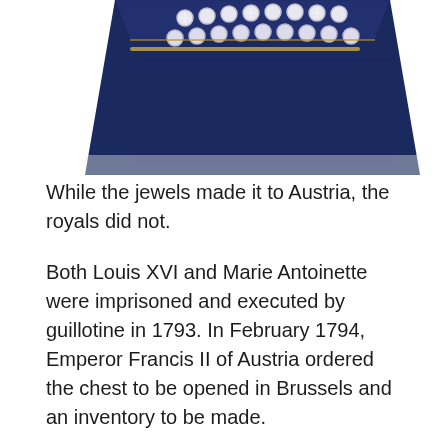[Figure (photo): A dark navy blue velvet jewelry box containing rows of diamond or crystal stones arranged in a grid pattern, photographed at an angle from above.]
While the jewels made it to Austria, the royals did not.
Both Louis XVI and Marie Antoinette were imprisoned and executed by guillotine in 1793. In February 1794, Emperor Francis II of Austria ordered the chest to be opened in Brussels and an inventory to be made.
Two magnificent bracelets that the Queen had purchased in 1776 were listed as Item No. 6 — "A pair of bracelets where three diamonds, with